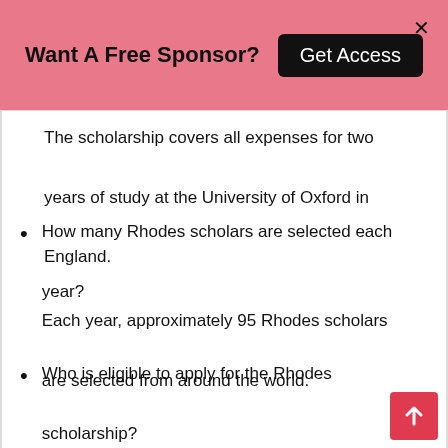Want A Free Sponsor? Get Access
The scholarship covers all expenses for two years of study at the University of Oxford in England.
How many Rhodes scholars are selected each year?
Each year, approximately 95 Rhodes scholars are selected from around the world.
Who is eligible to apply for the Rhodes scholarship?
To be eligible to apply for the Rhodes scholarship, you must: